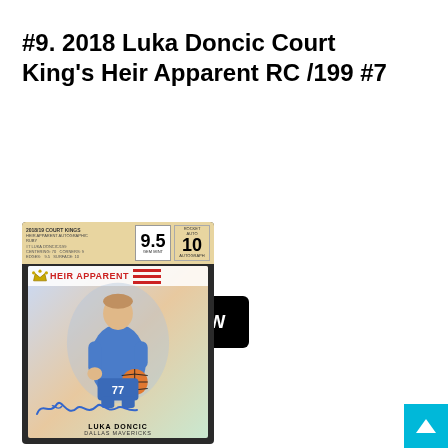#9. 2018 Luka Doncic Court King's Heir Apparent RC /199 #7
SHOP EBAY NOW
[Figure (photo): BGS graded basketball card in slab showing Luka Doncic 2018 Court Kings Heir Apparent RC /199 #7, graded 9.5 with autograph grade 10, card shows Doncic in Dallas Mavericks uniform with signature]
[Figure (other): Scroll to top button, cyan/teal square with white upward arrow]